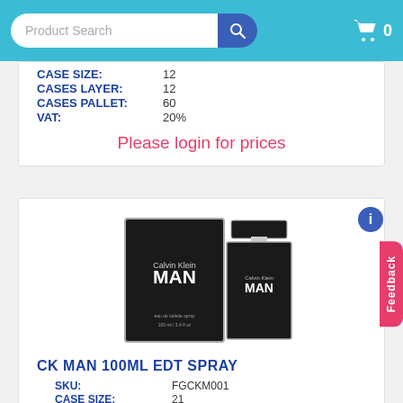Product Search  🔍  🛒 0
| CASE SIZE: | 12 |
| CASES LAYER: | 12 |
| CASES PALLET: | 60 |
| VAT: | 20% |
Please login for prices
[Figure (photo): Calvin Klein MAN EDT fragrance product photo showing box and bottle]
CK MAN 100ML EDT SPRAY
| SKU: | FGCKM001 |
| CASE SIZE: | 21 |
| CASES LAYER: | 10 |